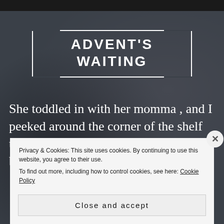[Figure (screenshot): Dark blueish-grey background resembling a blurred shelf or bookstore scene]
ADVENT'S WAITING
She toddled in with her momma , and I peeked around the corner of the shelf to say hello. She frowned and I stepped back with a......
Privacy & Cookies: This site uses cookies. By continuing to use this website, you agree to their use.
To find out more, including how to control cookies, see here: Cookie Policy
Close and accept